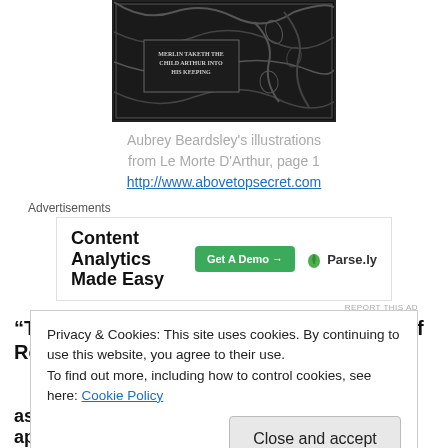[Figure (illustration): Aubrey Beardsley black and white illustration from Le Morte D'Arthur with decorative border and text 'MERLIN TAKETH THE CHILD ARTHUR INTO HIS KEEPING']
Aubrey Beardsley's illustrations from Le Morte D'Arthur, page 1
http://www.abovetopsecret.com
Advertisements
[Figure (screenshot): Parse.ly advertisement: 'Content Analytics Made Easy' with 'Get A Demo' button]
REPORT THIS AD
“Twelve knights arrive from the Emperor of Rome,
Privacy & Cookies: This site uses cookies. By continuing to use this website, you agree to their use.
To find out more, including how to control cookies, see here: Cookie Policy
Close and accept
as Sir Pelynore is about to kill Arthur, Merlin appears and